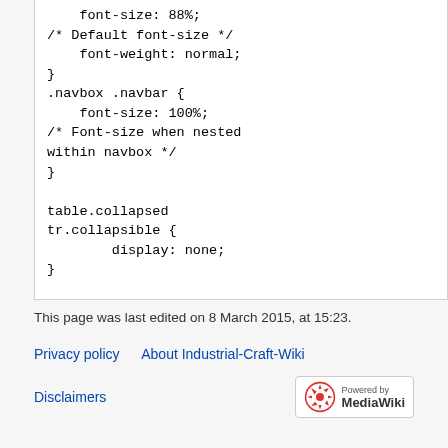font-size: 88%;
/* Default font-size */
font-weight: normal;
}
.navbox .navbar {
    font-size: 100%;
/* Font-size when nested within navbox */
}

table.collapsed
tr.collapsible {
        display: none;
}
This page was last edited on 8 March 2015, at 15:23.
Privacy policy   About Industrial-Craft-Wiki
Disclaimers   Powered by MediaWiki